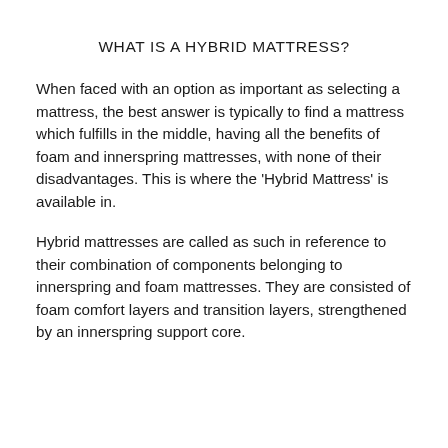WHAT IS A HYBRID MATTRESS?
When faced with an option as important as selecting a mattress, the best answer is typically to find a mattress which fulfills in the middle, having all the benefits of foam and innerspring mattresses, with none of their disadvantages. This is where the ‘Hybrid Mattress’ is available in.
Hybrid mattresses are called as such in reference to their combination of components belonging to innerspring and foam mattresses. They are consisted of foam comfort layers and transition layers, strengthened by an innerspring support core.